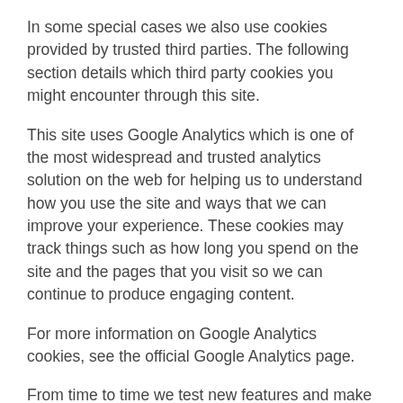In some special cases we also use cookies provided by trusted third parties. The following section details which third party cookies you might encounter through this site.
This site uses Google Analytics which is one of the most widespread and trusted analytics solution on the web for helping us to understand how you use the site and ways that we can improve your experience. These cookies may track things such as how long you spend on the site and the pages that you visit so we can continue to produce engaging content.
For more information on Google Analytics cookies, see the official Google Analytics page.
From time to time we test new features and make subtle changes to the way that the site is delivered. When we are still testing new features these cookies may be used to ensure that you receive a consistent experience whilst on the site whilst ensuring we